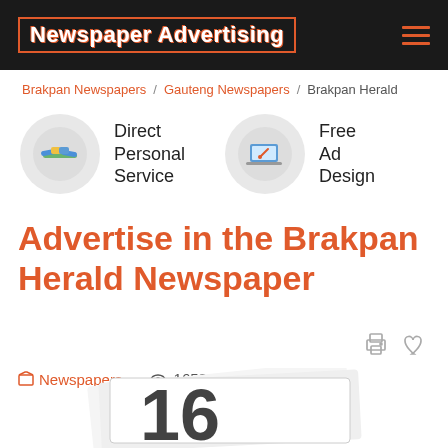Newspaper Advertising
Brakpan Newspapers / Gauteng Newspapers / Brakpan Herald
[Figure (illustration): Two icons: a handshake circle icon labeled 'Direct Personal Service' and a laptop/paintbrush circle icon labeled 'Free Ad Design']
Advertise in the Brakpan Herald Newspaper
Newspapers  1653  Mar 27, 2017